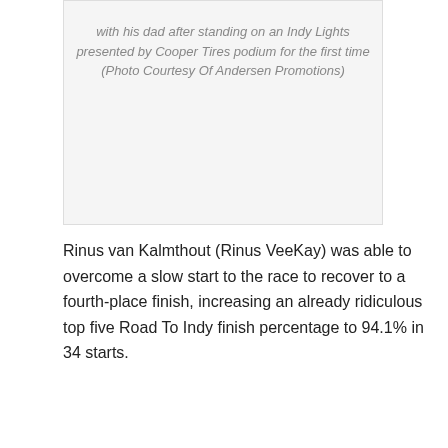with his dad after standing on an Indy Lights presented by Cooper Tires podium for the first time (Photo Courtesy Of Andersen Promotions)
Rinus van Kalmthout (Rinus VeeKay) was able to overcome a slow start to the race to recover to a fourth-place finish, increasing an already ridiculous top five Road To Indy finish percentage to 94.1% in 34 starts.
Belardi Auto Racing rookie Julien Falchero overcame a lack of track time due to a non-team related mechanical issue to come home in fifth. His third straight top-five finish.
After a slight delay to clean up the track after the Mazda MX-5 Cup race, the Cooper Tires Indy Lights Grand Prix Presented by Allied Building Products second race of the weekend got the green flag under overcast skies with the temperature a comfortable 66F.
The all Andretti Autosport rookie front row of Askew and Megannie